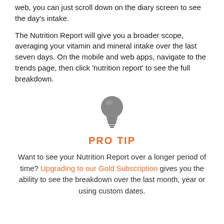web, you can just scroll down on the diary screen to see the day's intake.
The Nutrition Report will give you a broader scope, averaging your vitamin and mineral intake over the last seven days. On the mobile and web apps, navigate to the trends page, then click 'nutrition report' to see the full breakdown.
[Figure (illustration): Light bulb icon in grey]
PRO TIP
Want to see your Nutrition Report over a longer period of time? Upgrading to our Gold Subscription gives you the ability to see the breakdown over the last month, year or using custom dates.